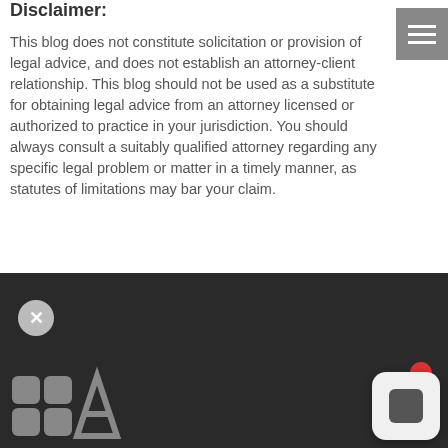Disclaimer:
This blog does not constitute solicitation or provision of legal advice, and does not establish an attorney-client relationship. This blog should not be used as a substitute for obtaining legal advice from an attorney licensed or authorized to practice in your jurisdiction. You should always consult a suitably qualified attorney regarding any specific legal problem or matter in a timely manner, as statutes of limitations may bar your claim.
Thank you for contacting Alcorn Immigration Law! We are happy to connect with you about your immigration needs.
[Figure (logo): Alcorn Immigration Law logo - stylized butterfly/A shape in white on dark background]